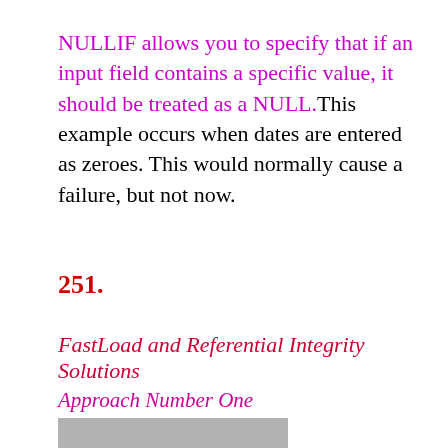NULLIF allows you to specify that if an input field contains a specific value, it should be treated as a NULL.This example occurs when dates are entered as zeroes. This would normally cause a failure, but not now.
251.
FastLoad and Referential Integrity Solutions
Approach Number One
[Figure (screenshot): Gray box with two circles and a right-pointing chevron/arrow icon, resembling a media player or code execution icon.]